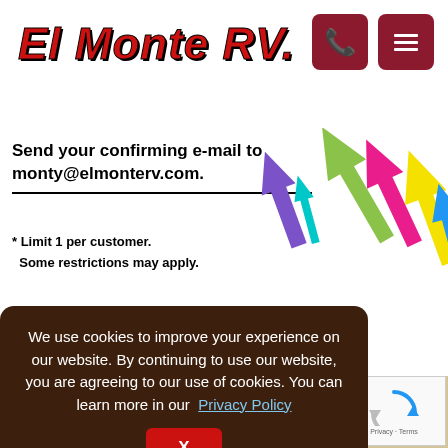EL MONTE RV.
[Figure (logo): El Monte RV logo in red bold italic text with black outline, with phone icon and menu icon in dark red/maroon rounded squares on the right]
Send your confirming e-mail to monty@elmonterv.com.
* Limit 1 per customer. Some restrictions may apply.
[Figure (illustration): Colorful arrows pointing upward and to the right in various colors: purple, teal, green, pink/magenta, yellow, blue]
Like Us on Facebook!
Did you know that you could earn $25 in Monty Bucks just for liking us on F
Click the image on the right to be taken to our Facebook page. Like us.  Th in an e-mail to monty@elmonterv.com.
We use cookies to improve your experience on our website. By continuing to use our website, you are agreeing to our use of cookies. You can learn more in our  Privacy Policy
[Figure (other): reCAPTCHA widget with circular arrows icon, Privacy and Terms links]